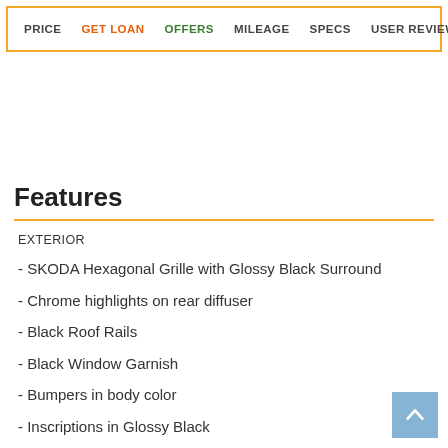PRICE  GET LOAN  OFFERS  MILEAGE  SPECS  USER REVIEWS
Features
EXTERIOR
- SKODA Hexagonal Grille with Glossy Black Surround
- Chrome highlights on rear diffuser
- Black Roof Rails
- Black Window Garnish
- Bumpers in body color
- Inscriptions in Glossy Black